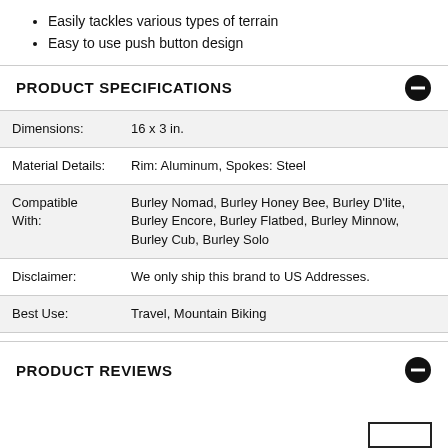Easily tackles various types of terrain
Easy to use push button design
PRODUCT SPECIFICATIONS
|  |  |
| --- | --- |
| Dimensions: | 16 x 3 in. |
| Material Details: | Rim: Aluminum, Spokes: Steel |
| Compatible With: | Burley Nomad, Burley Honey Bee, Burley D'lite, Burley Encore, Burley Flatbed, Burley Minnow, Burley Cub, Burley Solo |
| Disclaimer: | We only ship this brand to US Addresses. |
| Best Use: | Travel, Mountain Biking |
PRODUCT REVIEWS